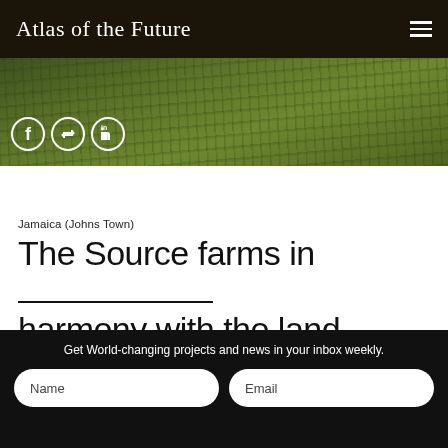Atlas of the Future
[Figure (photo): Green grass field hero banner with social media icons (Facebook, Twitter/retweet, LinkedIn) overlaid at bottom left]
Jamaica (Johns Town)
The Source farms in harmony with the land, its flora and fauna, and its local community.
Get World-changing projects and news in your inbox weekly.